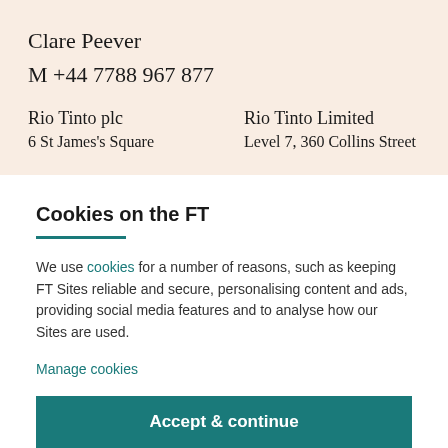Clare Peever
M +44 7788 967 877
Rio Tinto plc
6 St James's Square
Rio Tinto Limited
Level 7, 360 Collins Street
Cookies on the FT
We use cookies for a number of reasons, such as keeping FT Sites reliable and secure, personalising content and ads, providing social media features and to analyse how our Sites are used.
Manage cookies
Accept & continue